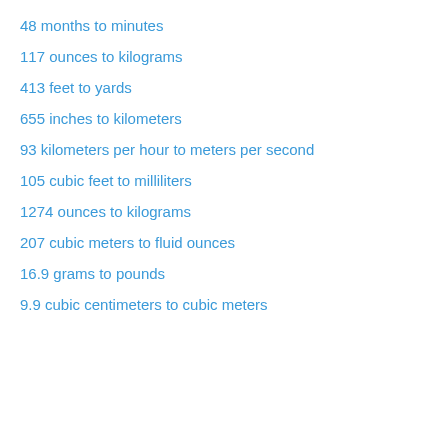48 months to minutes
117 ounces to kilograms
413 feet to yards
655 inches to kilometers
93 kilometers per hour to meters per second
105 cubic feet to milliliters
1274 ounces to kilograms
207 cubic meters to fluid ounces
16.9 grams to pounds
9.9 cubic centimeters to cubic meters